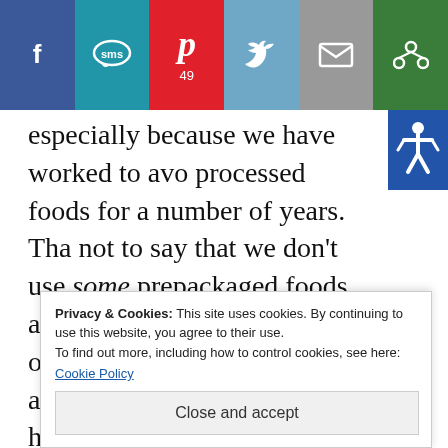[Figure (other): Social media share bar with icons for Facebook, SMS, Pinterest (49), Twitter, Email, and a green share button]
especially because we have worked to avoid processed foods for a number of years. That's not to say that we don't use some prepackaged foods, and it seems that many have omega 3 oils that need to be avoided on this protocol. I've had success finding items with Palm Kernel Oil and Canola oil (both
Privacy & Cookies: This site uses cookies. By continuing to use this website, you agree to their use.
To find out more, including how to control cookies, see here:
Cookie Policy
Close and accept